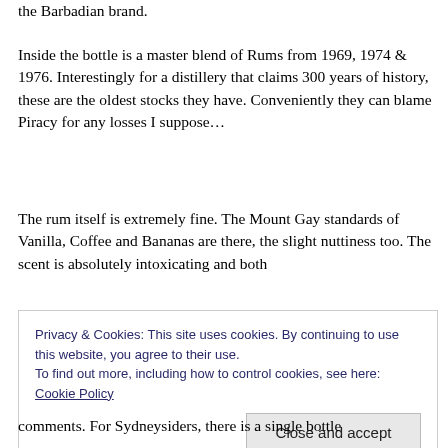the Barbadian brand.
Inside the bottle is a master blend of Rums from 1969, 1974 & 1976. Interestingly for a distillery that claims 300 years of history, these are the oldest stocks they have. Conveniently they can blame Piracy for any losses I suppose…
The rum itself is extremely fine. The Mount Gay standards of Vanilla, Coffee and Bananas are there, the slight nuttiness too. The scent is absolutely intoxicating and both
Privacy & Cookies: This site uses cookies. By continuing to use this website, you agree to their use.
To find out more, including how to control cookies, see here: Cookie Policy
Close and accept
comments. For Sydneysiders, there is a single bottle